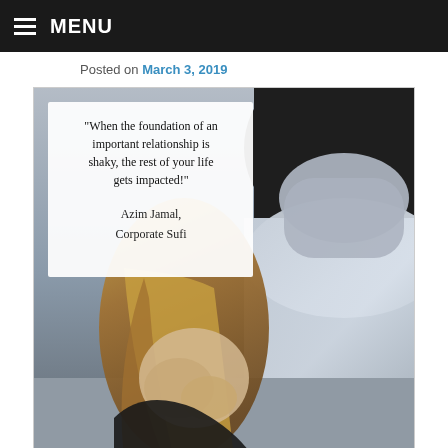MENU
Posted on March 3, 2019
[Figure (photo): Photo of a couple in conflict — a woman with long blonde hair sits with her head in her hands in distress, while a man lies on a bed in the background with his back turned. Overlaid on the upper left is a quote: "When the foundation of an important relationship is shaky, the rest of your life gets impacted!" — Azim Jamal, Corporate Sufi]